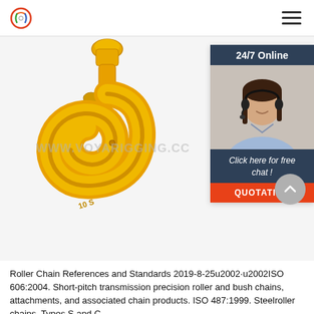VOY Rigging website header with logo and navigation menu
[Figure (photo): Yellow swivel safety hook (lifting hook) product photo on white background with watermark WWW.VOYARIGGING.CC. Includes a 24/7 Online chat widget on the right side with a customer service representative photo, 'Click here for free chat!' text and an orange QUOTATION button.]
Roller Chain References and Standards 2019-8-25u2002·u2002ISO 606:2004. Short-pitch transmission precision roller and bush chains, attachments, and associated chain products. ISO 487:1999. Steelroller chains, Types S and C